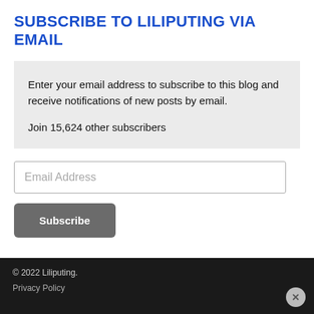SUBSCRIBE TO LILIPUTING VIA EMAIL
Enter your email address to subscribe to this blog and receive notifications of new posts by email.

Join 15,624 other subscribers
[Figure (other): Email address input field with placeholder text 'Email Address']
[Figure (other): Subscribe button (dark gray rounded rectangle)]
© 2022 Liliputing.
Privacy Policy